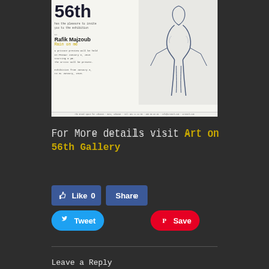[Figure (photo): Exhibition invitation poster for 'Rain on me' by Rafik Majzoub at Art on 56th Gallery. Shows partial large numerals '56th' at top, invitation text on left, and a figurative sketch drawing on the right. Private preview on FRIDAY January 6, 2015 starting 6 pm. Exhibition from January 8 to 31 January 2015.]
For More details visit Art on 56th Gallery
[Figure (screenshot): Social media sharing buttons: Facebook Like (0), Facebook Share, Twitter Tweet, and Pinterest Save buttons]
Leave a Reply